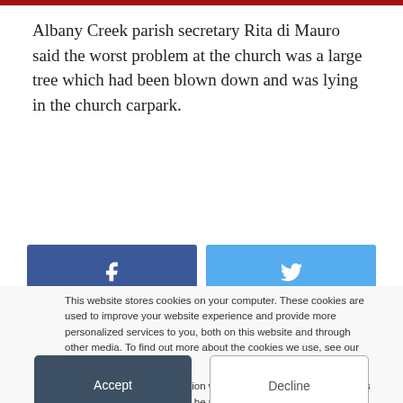Albany Creek parish secretary Rita di Mauro said the worst problem at the church was a large tree which had been blown down and was lying in the church carpark.
[Figure (other): Social sharing buttons: Facebook (blue) and Twitter (light blue)]
This website stores cookies on your computer. These cookies are used to improve your website experience and provide more personalized services to you, both on this website and through other media. To find out more about the cookies we use, see our Privacy Policy.

If you decline, your information won't be tracked when you visit this website. A single cookie will be used in your browser to remember your preference not to be tracked.